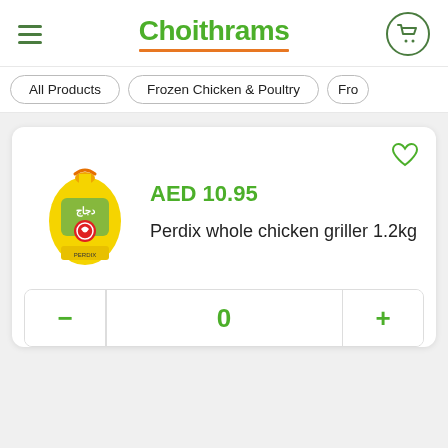Choithrams
All Products
Frozen Chicken & Poultry
Fro
AED 10.95
Perdix whole chicken griller 1.2kg
0